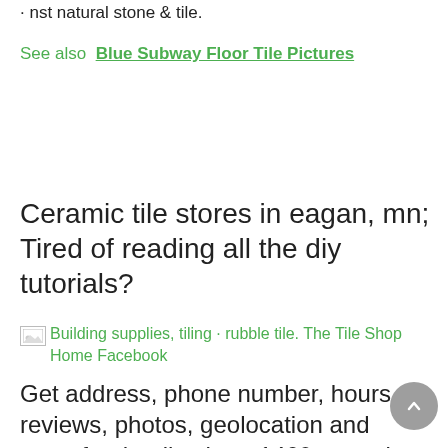· nst natural stone & tile.
See also  Blue Subway Floor Tile Pictures
Ceramic tile stores in eagan, mn; Tired of reading all the diy tutorials?
[Figure (other): Broken image icon for Building supplies, tiling · rubble tile. The Tile Shop Home Facebook]
Building supplies, tiling · rubble tile. The Tile Shop Home Facebook
Get address, phone number, hours, reviews, photos, geolocation and more for the tile shop, 1460 central park village dr #100, eagan, .